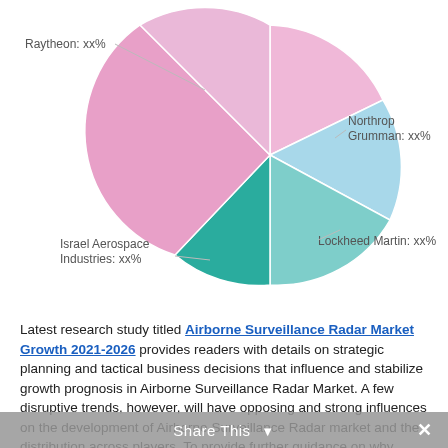[Figure (pie-chart): Airborne Surveillance Radar Market Share]
Latest research study titled Airborne Surveillance Radar Market Growth 2021-2026 provides readers with details on strategic planning and tactical business decisions that influence and stabilize growth prognosis in Airborne Surveillance Radar Market. A few disruptive trends, however, will have opposing and strong influences on the development of Airborne Surveillance Radar market and the distribution across players. To provide further guidance on why specific trends will have a high impact and precisely how these trends can be factored into the market trajectory and the strategy planning of players such as Northrop Grumman, Lockheed Martin, Israel Aerospace Industries, Raytheon, Thales Group, SAAB AB, Finmeccanica SPA, BAE Systems, Telephonics, CASIC & Harris.
Share This